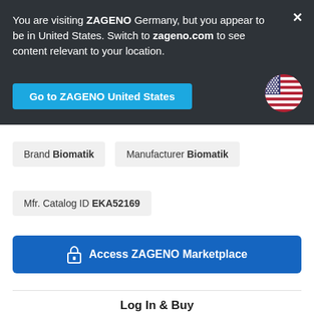You are visiting ZAGENO Germany, but you appear to be in United States. Switch to zageno.com to see content relevant to your location.
Go to ZAGENO United States
Brand Biomatik
Manufacturer Biomatik
Mfr. Catalog ID EKA52169
Access ZAGENO Marketplace
Log In & Buy